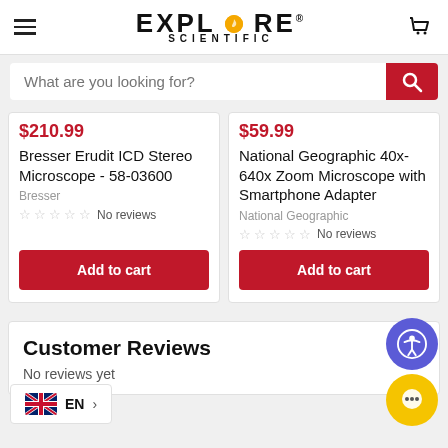Explore Scientific
What are you looking for?
$210.99
Bresser Erudit ICD Stereo Microscope - 58-03600
Bresser
No reviews
Add to cart
$59.99
National Geographic 40x-640x Zoom Microscope with Smartphone Adapter
National Geographic
No reviews
Add to cart
Customer Reviews
No reviews yet
EN